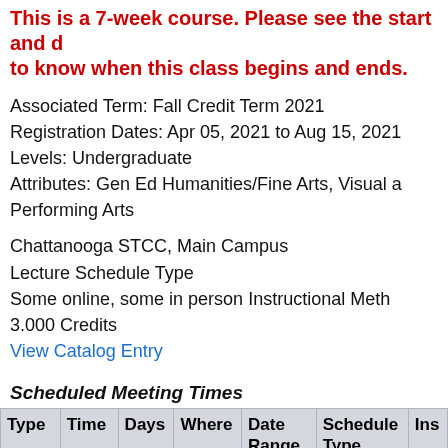This is a 7-week course. Please see the start and end dates to know when this class begins and ends.
Associated Term: Fall Credit Term 2021
Registration Dates: Apr 05, 2021 to Aug 15, 2021
Levels: Undergraduate
Attributes: Gen Ed Humanities/Fine Arts, Visual and Performing Arts
Chattanooga STCC, Main Campus
Lecture Schedule Type
Some online, some in person Instructional Method
3.000 Credits
View Catalog Entry
Scheduled Meeting Times
| Type | Time | Days | Where | Date Range | Schedule Type | Ins |
| --- | --- | --- | --- | --- | --- | --- |
| Some | 11:00 | MW | HUM | Aug 16, 2021 | Lecture | Sa |